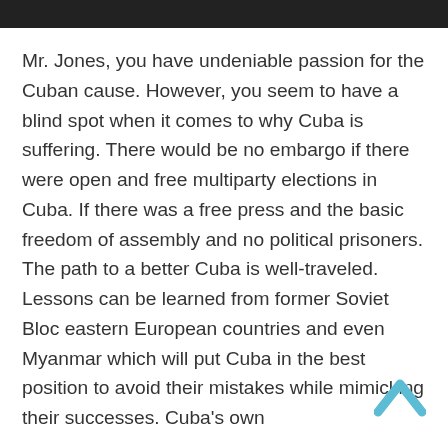Mr. Jones, you have undeniable passion for the Cuban cause. However, you seem to have a blind spot when it comes to why Cuba is suffering. There would be no embargo if there were open and free multiparty elections in Cuba. If there was a free press and the basic freedom of assembly and no political prisoners. The path to a better Cuba is well-traveled. Lessons can be learned from former Soviet Bloc eastern European countries and even Myanmar which will put Cuba in the best position to avoid their mistakes while mimicking their successes. Cuba's own